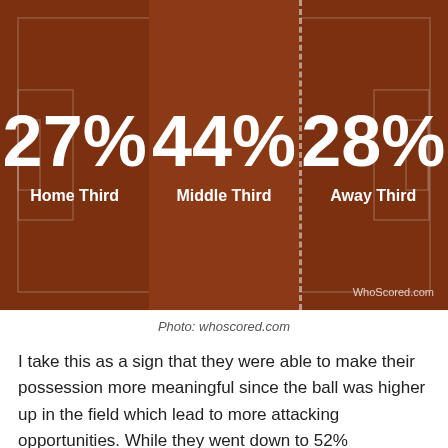[Figure (infographic): Soccer field divided into three thirds showing possession percentages: Home Third 27%, Middle Third 44%, Away Third 28%. WhoScored.com branding visible.]
Photo: whoscored.com
I take this as a sign that they were able to make their possession more meaningful since the ball was higher up in the field which lead to more attacking opportunities. While they went down to 52% possession this game, they made it worthwhile. An interesting note is how the team defended in a 4-2-3-1. It's the shape that I am interested in and not so much the...